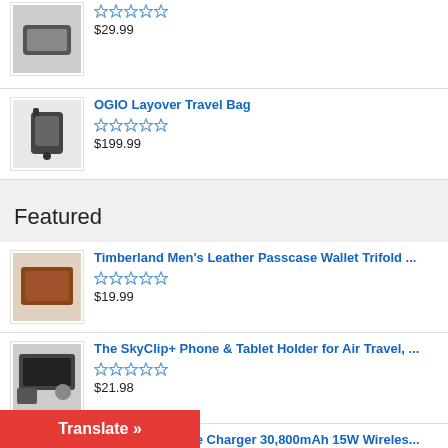$29.99 (product with stars)
OGIO Layover Travel Bag - $199.99
Featured
Timberland Men's Leather Passcase Wallet Trifold ... - $19.99
The SkyClip+ Phone & Tablet Holder for Air Travel, ... - $21.98
Wireless Portable Charger 30,800mAh 15W Wireles... - $26.36
Charger Power Bank 10000mAh⊙2 Pack⊙ U...
Translate »